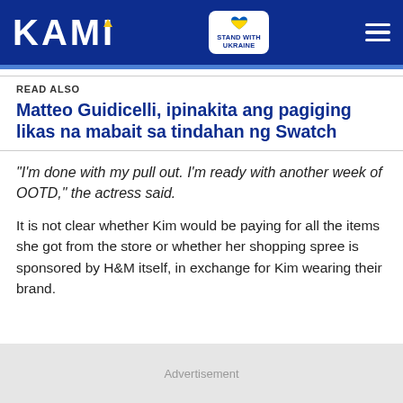KAMI — Stand with Ukraine
READ ALSO
Matteo Guidicelli, ipinakita ang pagiging likas na mabait sa tindahan ng Swatch
“I’m done with my pull out. I’m ready with another week of OOTD,” the actress said.
It is not clear whether Kim would be paying for all the items she got from the store or whether her shopping spree is sponsored by H&M itself, in exchange for Kim wearing their brand.
Advertisement